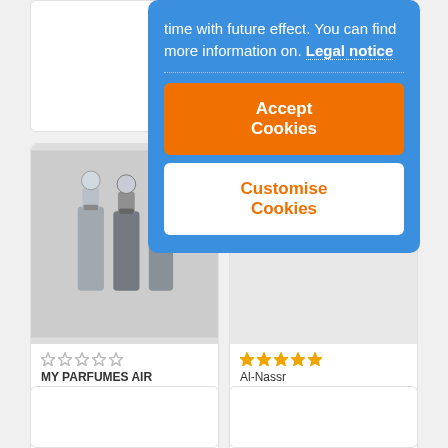4,00 €
[Figure (photo): Product image of MY PARFUMES AIR FRESHER 300ML - decorative silver perfume bottles]
MY PARFUMES AIR FRESHER 300ML
5,00 €
Al-Nassr
4,00 €
time with future effect. You can find more information on. Legal notice
Accept Cookies
Customise Cookies